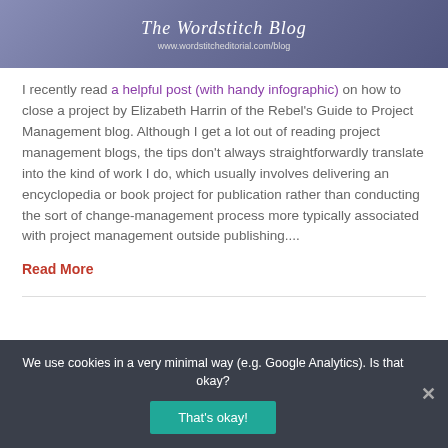[Figure (screenshot): The Wordstitch Blog header image with blog title and URL www.wordstitcheditorial.com/blog]
I recently read a helpful post (with handy infographic) on how to close a project by Elizabeth Harrin of the Rebel's Guide to Project Management blog. Although I get a lot out of reading project management blogs, the tips don't always straightforwardly translate into the kind of work I do, which usually involves delivering an encyclopedia or book project for publication rather than conducting the sort of change-management process more typically associated with project management outside publishing....
Read More
We use cookies in a very minimal way (e.g. Google Analytics). Is that okay?
That's okay!